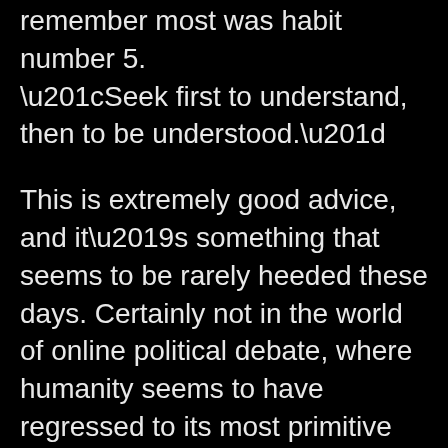remember most was habit number 5. “Seek first to understand, then to be understood.”
This is extremely good advice, and it’s something that seems to be rarely heeded these days. Certainly not in the world of online political debate, where humanity seems to have regressed to its most primitive societal constructs: small villages of like-minded individuals who venture out only to engage in raids against rival tribes.